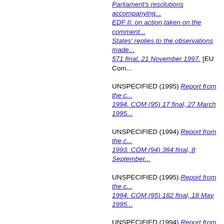Parliament's resolutions accompanying... EDF II. on action taken on the comments... States' replies to the observations made... 571 final, 21 November 1997. [EU Com...
UNSPECIFIED (1995) Report from the c... 1994. COM (95) 17 final, 27 March 1995...
UNSPECIFIED (1994) Report from the c... 1993. COM (94) 364 final, 8 September...
UNSPECIFIED (1995) Report from the c... 1994. COM (95) 182 final, 18 May 1995...
UNSPECIFIED (1994) Report from the c... resources. Article 18(5) of Council Regu... Document]
UNSPECIFIED (1985) Report from the c... Nos 2891/77 and 2892/77 of 19 Decem... contributions from Member States by th... Euratom) extending the term of validity ... resources accruing from value added ta... Member States by the Communities' ow...